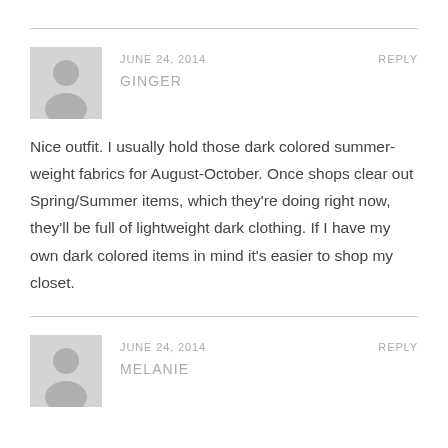JUNE 24, 2014
REPLY
GINGER
Nice outfit. I usually hold those dark colored summer-weight fabrics for August-October. Once shops clear out Spring/Summer items, which they're doing right now, they'll be full of lightweight dark clothing. If I have my own dark colored items in mind it's easier to shop my closet.
JUNE 24, 2014
REPLY
MELANIE